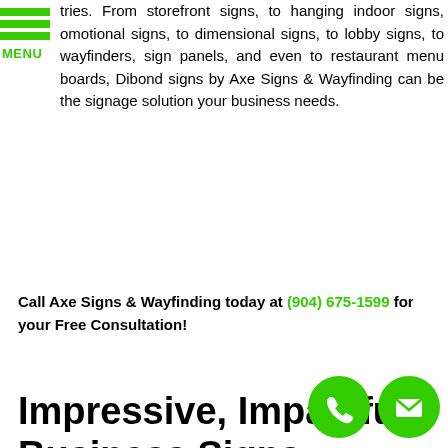[Figure (logo): Green hamburger menu icon with three horizontal green bars and 'MENU' label in green text]
tries. From storefront signs, to hanging indoor signs, omotional signs, to dimensional signs, to lobby signs, to wayfinders, sign panels, and even to restaurant menu boards, Dibond signs by Axe Signs & Wayfinding can be the signage solution your business needs.
Call Axe Signs & Wayfinding today at (904) 675-1599 for your Free Consultation!
Impressive, Impactful Business Signs
[Figure (illustration): Two green circular icons at bottom right: a phone/call icon and an email/envelope icon]